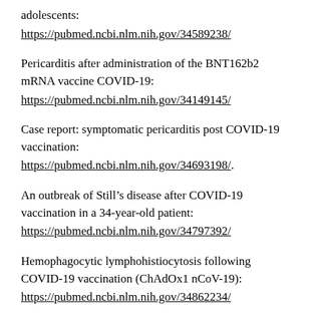adolescents:
https://pubmed.ncbi.nlm.nih.gov/34589238/
Pericarditis after administration of the BNT162b2 mRNA vaccine COVID-19:
https://pubmed.ncbi.nlm.nih.gov/34149145/
Case report: symptomatic pericarditis post COVID-19 vaccination:
https://pubmed.ncbi.nlm.nih.gov/34693198/.
An outbreak of Still’s disease after COVID-19 vaccination in a 34-year-old patient:
https://pubmed.ncbi.nlm.nih.gov/34797392/
Hemophagocytic lymphohistiocytosis following COVID-19 vaccination (ChAdOx1 nCoV-19):
https://pubmed.ncbi.nlm.nih.gov/34862234/